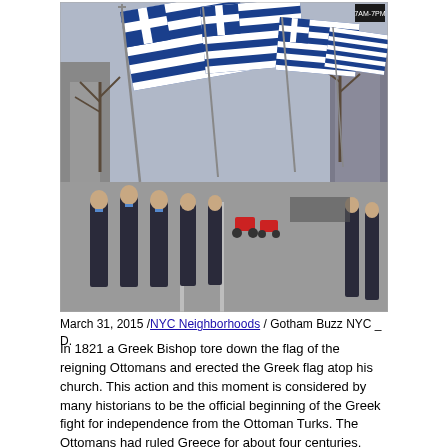[Figure (photo): Greek Independence Day parade on a city street (NYC). Young women in dark uniforms with blue scarves march in formation carrying large Greek flags (blue and white stripes with cross). A long line of participants stretches down the avenue lined with bare trees and tall buildings. Motorcycles and crowd visible in background.]
March 31, 2015 /NYC Neighborhoods / Gotham Buzz NYC _ D.
In 1821 a Greek Bishop tore down the flag of the reigning Ottomans and erected the Greek flag atop his church. This action and this moment is considered by many historians to be the official beginning of the Greek fight for independence from the Ottoman Turks. The Ottomans had ruled Greece for about four centuries.
Fast forward to the 21st century in New York City and the Greeks are on the march once again. The Evzones Presidential Guard marched near the front of the parade. They were preceded by a cadre of government officials including the Governor (who I missed) and the Mayor, as well as government officials from the